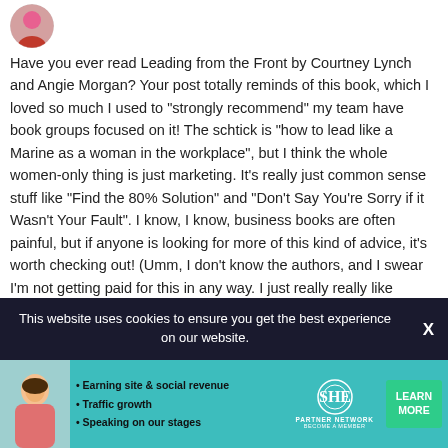[Figure (photo): Circular avatar photo of a person with pink/red tones, partially visible at top left]
Have you ever read Leading from the Front by Courtney Lynch and Angie Morgan? Your post totally reminds of this book, which I loved so much I used to “strongly recommend” my team have book groups focused on it! The schtick is “how to lead like a Marine as a woman in the workplace”, but I think the whole women-only thing is just marketing. It’s really just common sense stuff like “Find the 80% Solution” and “Don’t Say You’re Sorry if it Wasn’t Your Fault”. I know, I know, business books are often painful, but if anyone is looking for more of this kind of advice, it’s worth checking out! (Umm, I don’t know the authors, and I swear I’m not getting paid for this in any way. I just really really like exclamation points.)
Reply
This website uses cookies to ensure you get the best experience on our website.
[Figure (infographic): SHE Partner Network advertisement banner with person photo, bullet points about earning site & social revenue, traffic growth, speaking on our stages, SHE logo, and Learn More button]